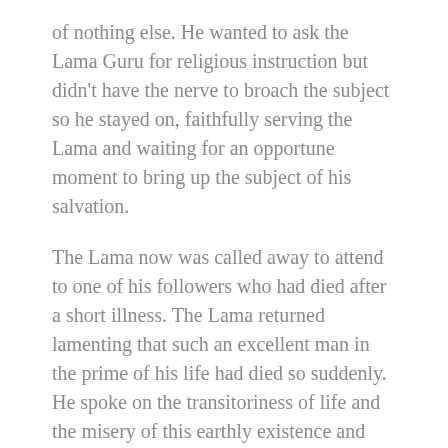of nothing else. He wanted to ask the Lama Guru for religious instruction but didn't have the nerve to broach the subject so he stayed on, faithfully serving the Lama and waiting for an opportune moment to bring up the subject of his salvation.
The Lama now was called away to attend to one of his followers who had died after a short illness. The Lama returned lamenting that such an excellent man in the prime of his life had died so suddenly. He spoke on the transitoriness of life and the misery of this earthly existence and then started ruminating over his own life. He had spent his entire life up to that point practicing the art of dealing death and destruction and teaching those same black arts to many others. By doing so he had to take at least a portion of the karmic responsibility for all the evil acts that had come out of it.